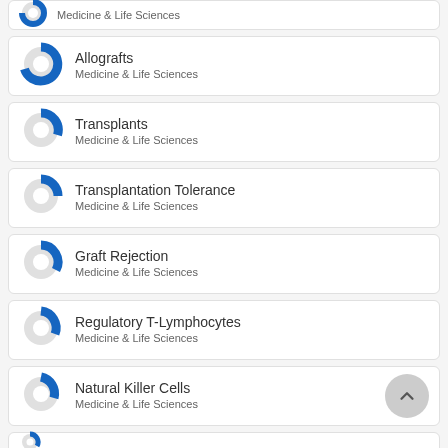Medicine & Life Sciences
Allografts
Medicine & Life Sciences
Transplants
Medicine & Life Sciences
Transplantation Tolerance
Medicine & Life Sciences
Graft Rejection
Medicine & Life Sciences
Regulatory T-Lymphocytes
Medicine & Life Sciences
Natural Killer Cells
Medicine & Life Sciences